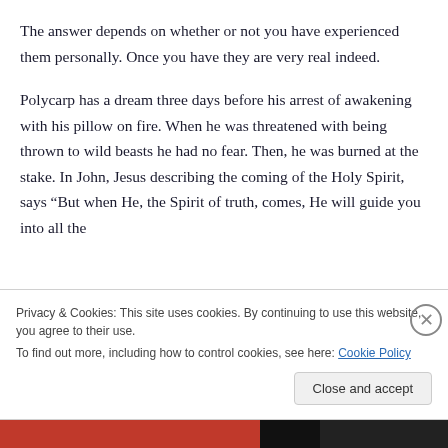The answer depends on whether or not you have experienced them personally. Once you have they are very real indeed.
Polycarp has a dream three days before his arrest of awakening with his pillow on fire. When he was threatened with being thrown to wild beasts he had no fear. Then, he was burned at the stake. In John, Jesus describing the coming of the Holy Spirit, says “But when He, the Spirit of truth, comes, He will guide you into all the
Privacy & Cookies: This site uses cookies. By continuing to use this website, you agree to their use.
To find out more, including how to control cookies, see here: Cookie Policy